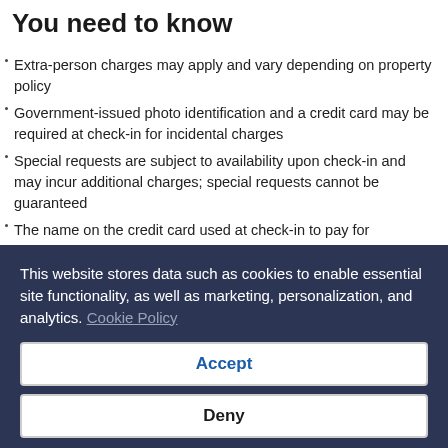You need to know
Extra-person charges may apply and vary depending on property policy
Government-issued photo identification and a credit card may be required at check-in for incidental charges
Special requests are subject to availability upon check-in and may incur additional charges; special requests cannot be guaranteed
The name on the credit card used at check-in to pay for incidentals must be the primary name on the guestroom reservation
This property accepts credit/debit cards; cash is not accepted
This website stores data such as cookies to enable essential site functionality, as well as marketing, personalization, and analytics. Cookie Policy
Accept
Deny